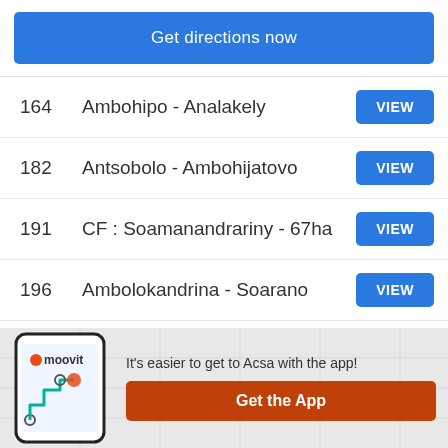Get directions now
164  Ambohipo - Analakely  VIEW
182  Antsobolo - Ambohijatovo  VIEW
191  CF : Soamanandrariny - 67ha  VIEW
196  Ambolokandrina - Soarano  VIEW
193A  Ambohitrakely - Ampasika  VIEW
It's easier to get to Acsa with the app!
Get the App